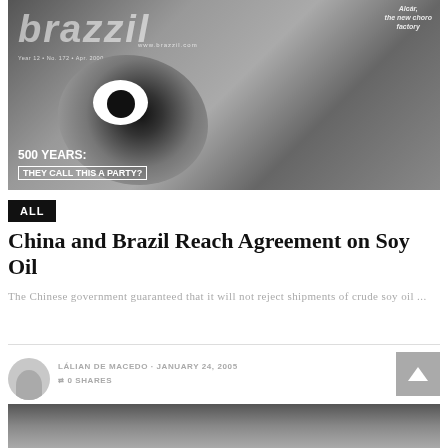[Figure (photo): Black and white magazine cover of 'Brazil' magazine showing a close-up of a human eye, with text '500 YEARS: THEY CALL THIS A PARTY?' and issue details Year 12, No. 172, April 2000, $2. Top right teaser text reads 'Alcár, the new choro factory'. Website www.brazzil.com shown.]
ALL
China and Brazil Reach Agreement on Soy Oil
The Chinese government guaranteed that it will not reject shipments of crude soy oil ...
LÁLIAN DE MACEDO · JANUARY 24, 2005
⇄ 0 SHARES
[Figure (photo): Partial black and white photo visible at the bottom of the page, cropped.]